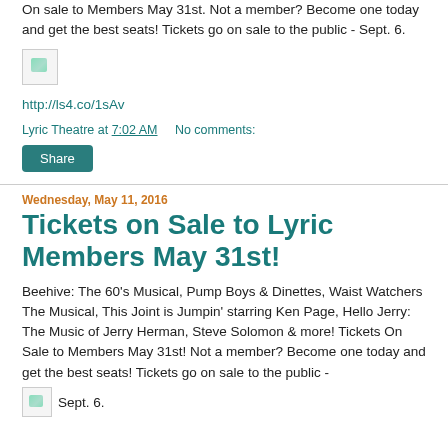On sale to Members May 31st. Not a member? Become one today and get the best seats! Tickets go on sale to the public - Sept. 6.
[Figure (other): Broken/placeholder image icon]
http://ls4.co/1sAv
Lyric Theatre at 7:02 AM   No comments:
Share
Wednesday, May 11, 2016
Tickets on Sale to Lyric Members May 31st!
Beehive: The 60's Musical, Pump Boys & Dinettes, Waist Watchers The Musical, This Joint is Jumpin' starring Ken Page, Hello Jerry: The Music of Jerry Herman, Steve Solomon & more! Tickets On Sale to Members May 31st! Not a member? Become one today and get the best seats! Tickets go on sale to the public - Sept. 6.
[Figure (other): Broken/placeholder image icon]